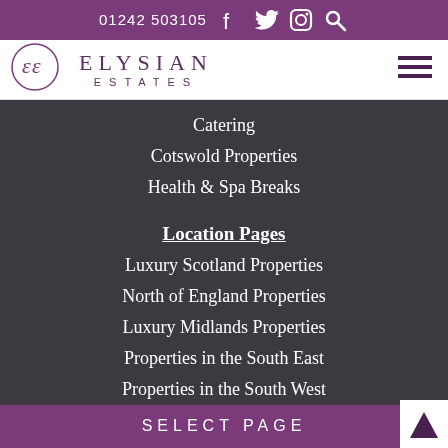01242 503105
ELYSIAN ESTATES
Catering
Cotswold Properties
Health & Spa Breaks
Location Pages
Luxury Scotland Properties
North of England Properties
Luxury Midlands Properties
Properties in the South East
Properties in the South West
SELECT PAGE